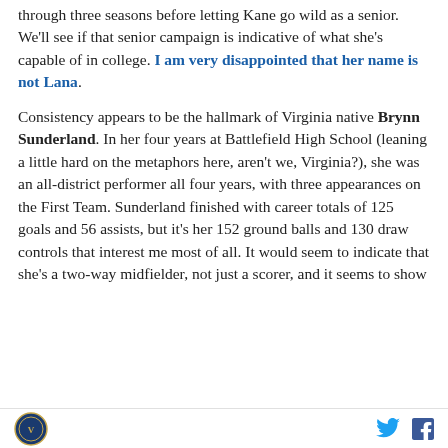through three seasons before letting Kane go wild as a senior. We'll see if that senior campaign is indicative of what she's capable of in college. I am very disappointed that her name is not Lana.
Consistency appears to be the hallmark of Virginia native Brynn Sunderland. In her four years at Battlefield High School (leaning a little hard on the metaphors here, aren't we, Virginia?), she was an all-district performer all four years, with three appearances on the First Team. Sunderland finished with career totals of 125 goals and 56 assists, but it's her 152 ground balls and 130 draw controls that interest me most of all. It would seem to indicate that she's a two-way midfielder, not just a scorer, and it seems to show
[logo] [twitter] [facebook]